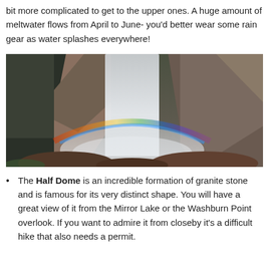bit more complicated to get to the upper ones. A huge amount of meltwater flows from April to June- you'd better wear some rain gear as water splashes everywhere!
[Figure (photo): A dramatic waterfall cascading over rocky cliffs with a rainbow visible in the mist at the base, surrounded by dark rocks and green vegetation.]
The Half Dome is an incredible formation of granite stone and is famous for its very distinct shape. You will have a great view of it from the Mirror Lake or the Washburn Point overlook. If you want to admire it from closeby it's a difficult hike that also needs a permit.